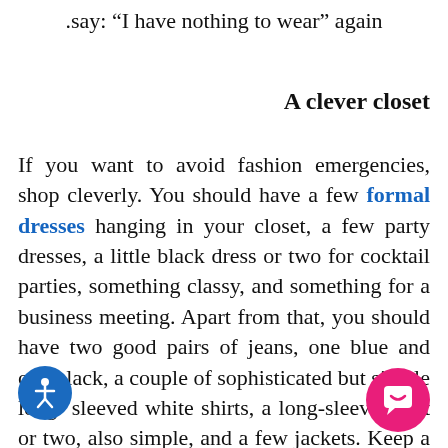.say: “I have nothing to wear” again
A clever closet
If you want to avoid fashion emergencies, shop cleverly. You should have a few formal dresses hanging in your closet, a few party dresses, a little black dress or two for cocktail parties, something classy, and something for a business meeting. Apart from that, you should have two good pairs of jeans, one blue and one black, a couple of sophisticated but simple long-sleeved white shirts, a long-sleeved b rt or two, also simple, and a few jackets. Keep a range of shoes, flats and